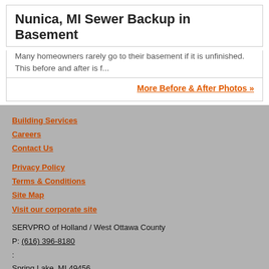Nunica, MI Sewer Backup in Basement
Many homeowners rarely go to their basement if it is unfinished. This before and after is f...
More Before & After Photos »
Building Services
Careers
Contact Us
Privacy Policy
Terms & Conditions
Site Map
Visit our corporate site
SERVPRO of Holland / West Ottawa County
P: (616) 396-8180
:
Spring Lake, MI 49456
[Figure (logo): Social media icons: Facebook, LinkedIn, Google, Yelp]
© Servpro Industries, LLC. – All services in the U.S. performed by independently owned and operated franchises of Servpro Industries, LLC.
© Servpro Industries (Canada) ULC – All services in Canada performed by independently owned and operated franchises of Servpro Industries (Canada) ULC.